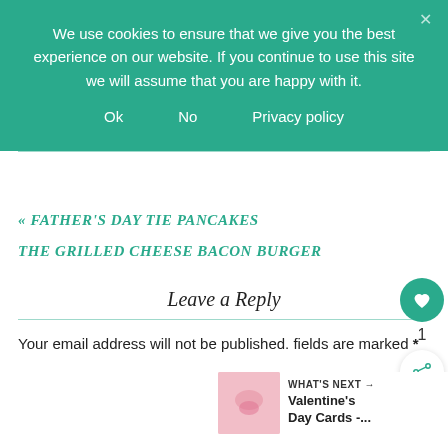We use cookies to ensure that we give you the best experience on our website. If you continue to use this site we will assume that you are happy with it.
Ok   No   Privacy policy
« FATHER'S DAY TIE PANCAKES
THE GRILLED CHEESE BACON BURGER
Leave a Reply
Your email address will not be published. fields are marked *
WHAT'S NEXT → Valentine's Day Cards -...